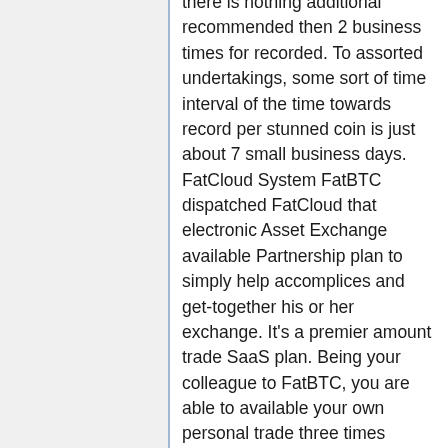there is nothing additional recommended then 2 business times for recorded. To assorted undertakings, some sort of time interval of the time towards record per stunned coin is just about 7 small business days. FatCloud System FatBTC dispatched FatCloud that electronic Asset Exchange available Partnership plan to simply help accomplices and get-together his or her exchange. It's a premier amount trade SaaS plan. Being your colleague to FatBTC, you are able to available your own personal trade three times without unequivocal assembling and cost. Most inconsequential costs FatBTC costs unessential price inside virtually the complete change trade. Shops are definitely free, FatBTC doesn't fee a shop pricing. That trade expense try 2. Notwithstanding, anyone can